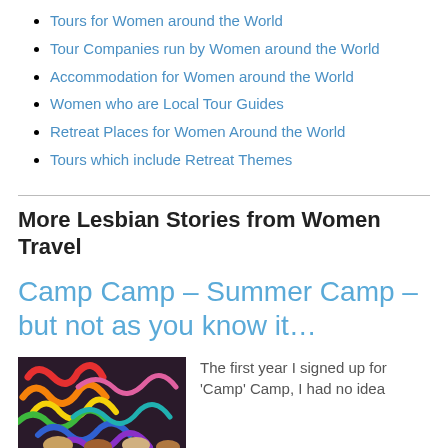Tours for Women around the World
Tour Companies run by Women around the World
Accommodation for Women around the World
Women who are Local Tour Guides
Retreat Places for Women Around the World
Tours which include Retreat Themes
More Lesbian Stories from Women Travel
Camp Camp – Summer Camp – but not as you know it…
[Figure (photo): Colorful festive headbands and people at Camp Camp]
The first year I signed up for 'Camp' Camp, I had no idea